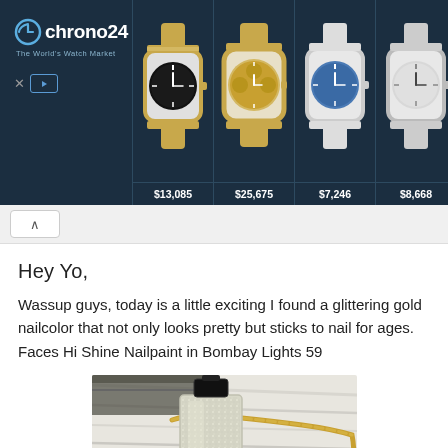[Figure (screenshot): Chrono24 watch advertisement banner showing logo on dark navy background and four luxury watches with prices: $13,085, $25,675, $7,246, $8,668]
Hey Yo,
Wassup guys, today is a little exciting I found a glittering gold nailcolor that not only looks pretty but sticks to nail for ages. Faces Hi Shine Nailpaint in Bombay Lights 59
[Figure (photo): Photo of a glitter gold nail polish bottle with a gold chain and painted nails showing the Faces Hi Shine Nailpaint in Bombay Lights 59]